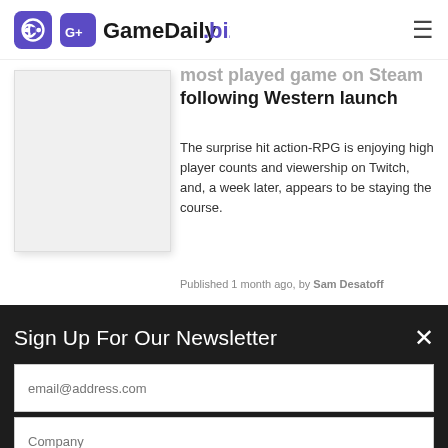GameDaily.biz
most played game on Steam following Western launch
The surprise hit action-RPG is enjoying high player counts and viewership on Twitch, and, a week later, appears to be staying the course.
Published 1 month ago, by Sam Desatoff
Nintendo to shutter Wii U and 3DS marketplaces in 2023
Sign Up For Our Newsletter
email@address.com
Company
Job Title
Submit